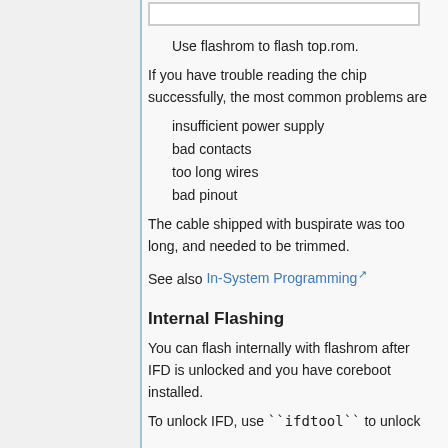Use flashrom to flash top.rom.
If you have trouble reading the chip successfully, the most common problems are
insufficient power supply
bad contacts
too long wires
bad pinout
The cable shipped with buspirate was too long, and needed to be trimmed.
See also In-System Programming
Internal Flashing
You can flash internally with flashrom after IFD is unlocked and you have coreboot installed.
To unlock IFD, use ``ifdtool`` to unlock